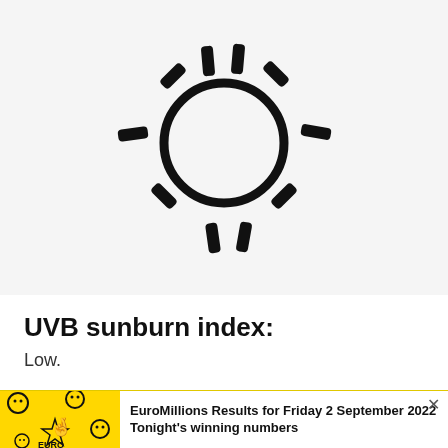[Figure (illustration): Hand-drawn style sun icon with a circle in the center and radiating rays (short thick lines) around it, drawn in black on a light grey background.]
UVB sunburn index:
Low.
[Figure (photo): Advertisement banner showing the National Lottery EuroMillions logo on a yellow background with smiley face icons, alongside text about EuroMillions Results for Friday 2 September 2022 Tonight's winning numbers, with a close (×) button.]